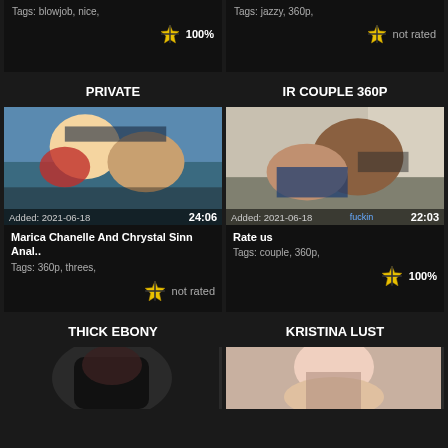[Figure (screenshot): Partial video card top-left: Tags: blowjob, nice, with 100% rating]
[Figure (screenshot): Partial video card top-right: Tags: jazzy, 360p, not rated]
PRIVATE
IR COUPLE 360P
[Figure (screenshot): Video thumbnail: Marica Chanelle And Chrystal Sinn Anal.. Added: 2021-06-18, duration 24:06, Tags: 360p, threes, not rated]
[Figure (screenshot): Video thumbnail: Rate us, Added: 2021-06-18, duration 22:03, Tags: couple, 360p, 100%]
THICK EBONY
KRISTINA LUST
[Figure (screenshot): Partial thumbnail bottom-left showing dark content]
[Figure (screenshot): Partial thumbnail bottom-right showing content]